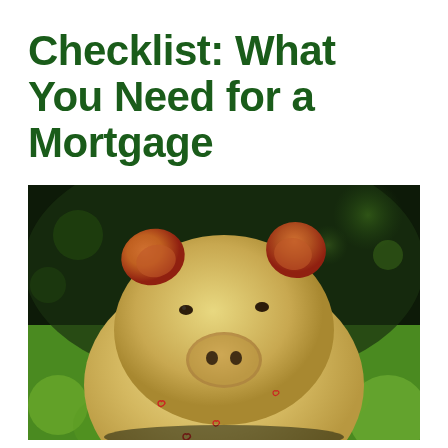Checklist: What You Need for a Mortgage
[Figure (photo): Close-up photo of a ceramic piggy bank with heart decorations, yellow and cream colored with red ears, photographed against a blurred green bokeh background]